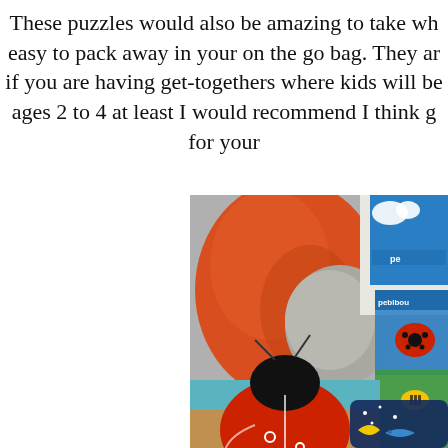These puzzles would also be amazing to take wh easy to pack away in your on the go bag. They ar if you are having get-togethers where kids will be ages 2 to 4 at least I would recommend I think g for your
[Figure (photo): Photo showing puzzle boxes with colorful insect designs (ladybug, bee) and a completed ladybug puzzle piece in the foreground, arranged on a bed with orange and grey pillows/blankets in the background.]